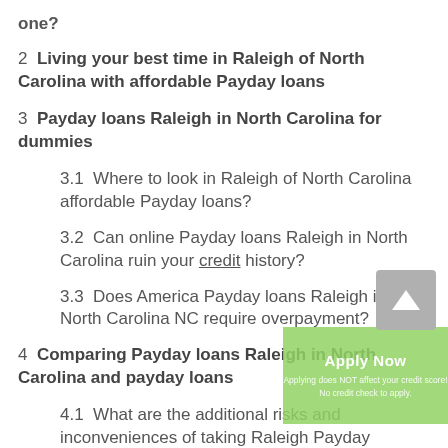one?
2  Living your best time in Raleigh of North Carolina with affordable Payday loans
3  Payday loans Raleigh in North Carolina for dummies
3.1  Where to look in Raleigh of North Carolina affordable Payday loans?
3.2  Can online Payday loans Raleigh in North Carolina ruin your credit history?
3.3  Does America Payday loans Raleigh in North Carolina NC require overpayment?
4  Comparing Payday loans Raleigh in North Carolina and payday loans
4.1  What are the additional risks and inconveniences of taking Raleigh Payday